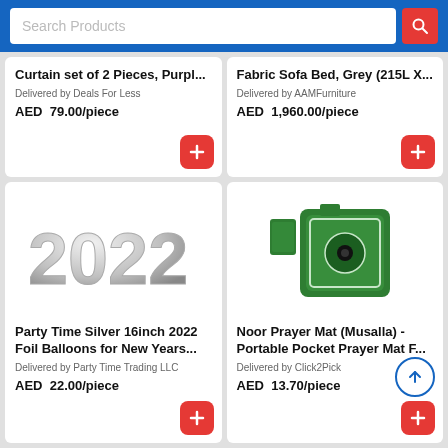Search Products
Curtain set of 2 Pieces, Purpl...
Delivered by Deals For Less
AED 79.00/piece
Fabric Sofa Bed, Grey (215L X...
Delivered by AAMFurniture
AED 1,960.00/piece
[Figure (photo): Silver foil '2022' balloons for New Year]
Party Time Silver 16inch 2022 Foil Balloons for New Years...
Delivered by Party Time Trading LLC
AED 22.00/piece
[Figure (photo): Green portable pocket prayer mat (Musalla) folded, with green packets beside it]
Noor Prayer Mat (Musalla) - Portable Pocket Prayer Mat F...
Delivered by Click2Pick
AED 13.70/piece